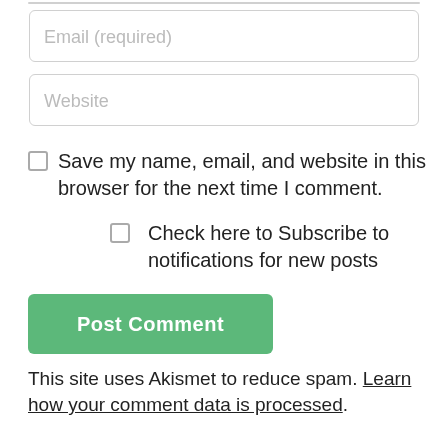[Figure (screenshot): Email (required) input field, partially visible at top]
[Figure (screenshot): Website input field]
Save my name, email, and website in this browser for the next time I comment.
Check here to Subscribe to notifications for new posts
Post Comment
This site uses Akismet to reduce spam. Learn how your comment data is processed.